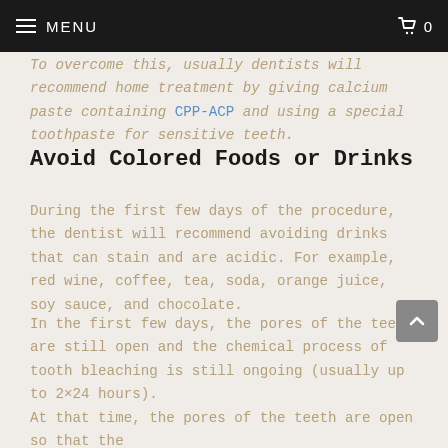MENU  0
To overcome this, usually dentists will recommend home treatment by giving calcium paste containing CPP-ACP and using a special toothpaste for sensitive teeth.
Avoid Colored Foods or Drinks
During the first few days of the procedure, the dentist will recommend avoiding drinks that can stain and are acidic. For example, red wine, coffee, tea, soda, orange juice, soy sauce, and chocolate.
In the first few days, the pores of the teeth are still open and the chemical process of tooth bleaching is still ongoing (usually up to 2×24 hours).
At that time, the pores of the teeth are open so that the absorption of staining components from the consumed acidic